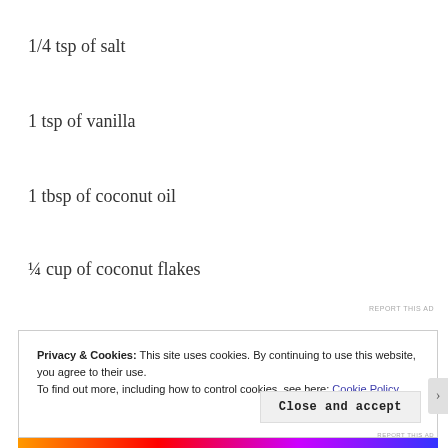1/4 tsp of salt
1 tsp of vanilla
1 tbsp of coconut oil
¼ cup of coconut flakes
REPORT THIS AD
Privacy & Cookies: This site uses cookies. By continuing to use this website, you agree to their use.
To find out more, including how to control cookies, see here: Cookie Policy
Close and accept